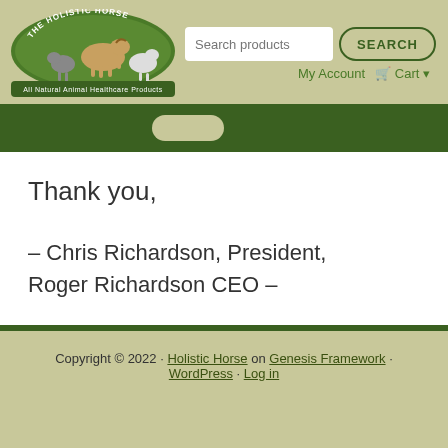[Figure (logo): The Holistic Horse logo — circular badge with animals and text 'THE HOLISTIC HORSE' and 'All Natural Animal Healthcare Products']
Search products
SEARCH
My Account
Cart
Thank you,
– Chris Richardson, President, Roger Richardson CEO –
Copyright © 2022 · Holistic Horse on Genesis Framework · WordPress · Log in